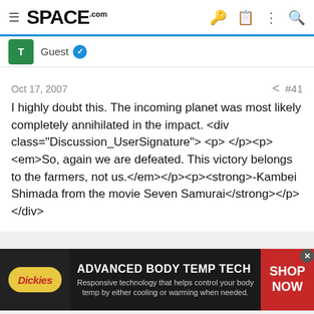SPACE.com
Guest
Oct 17, 2007  #41
I highly doubt this. The incoming planet was most likely completely annihilated in the impact. <div class="Discussion_UserSignature"> <p> </p><p><em>So, again we are defeated. This victory belongs to the farmers, not us.</em></p><p><strong>-Kambei Shimada from the movie Seven Samurai</strong></p> </div>
[Figure (screenshot): Dickies advertisement banner: Advanced Body Temp Tech. Responsive technology that helps control your body temp by either cooling or warming when needed. SHOP NOW.]